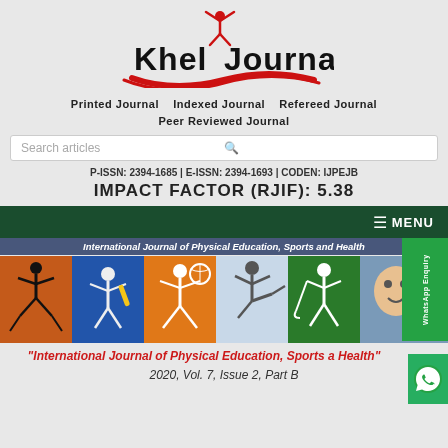[Figure (logo): Khel Journal logo with red figure jumping and red swoosh beneath bold black text]
Printed Journal   Indexed Journal   Refereed Journal
Peer Reviewed Journal
Search articles
P-ISSN: 2394-1685 | E-ISSN: 2394-1693 | CODEN: IJPEJB
IMPACT FACTOR (RJIF): 5.38
MENU
[Figure (photo): Banner showing International Journal of Physical Education, Sports and Health with multiple sports images: yoga, cricket, basketball, martial arts, field hockey, coaching]
"International Journal of Physical Education, Sports a Health"
2020, Vol. 7, Issue 2, Part B